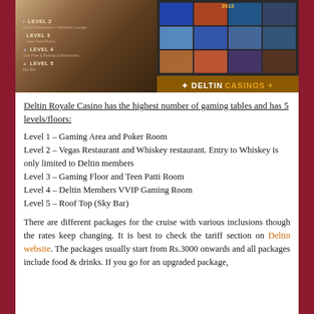[Figure (photo): Two photos side by side: left shows a wooden directory board with casino floor levels listed (Level 2: Vegas Restaurant & Whiskey Lounge, Level 3: Teen Patti Room, Level 4: Club Five & something, Level 5: Sky Bar); right shows a Deltin Casinos display board with a grid of destination photos and 2013 label, with an orange Deltin Casinos banner at the bottom.]
Deltin Royale Casino has the highest number of gaming tables and has 5 levels/floors:
Level 1 – Gaming Area and Poker Room
Level 2 – Vegas Restaurant and Whiskey restaurant. Entry to Whiskey is only limited to Deltin members
Level 3 – Gaming Floor and Teen Patti Room
Level 4 – Deltin Members VVIP Gaming Room
Level 5 – Roof Top (Sky Bar)
There are different packages for the cruise with various inclusions though the rates keep changing. It is best to check the tariff section on Deltin website. The packages usually start from Rs.3000 onwards and all packages include food & drinks. If you go for an upgraded package,